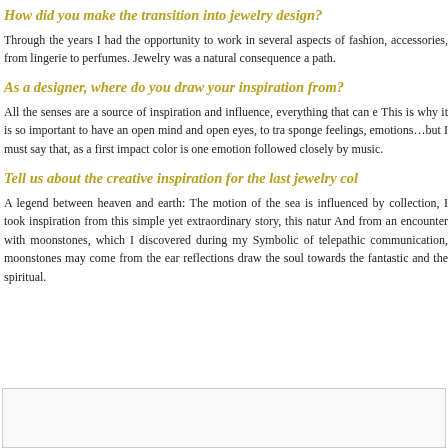How did you make the transition into jewelry design?
Through the years I had the opportunity to work in several aspects of fashion, accessories, from lingerie to perfumes. Jewelry was a natural consequence and path.
As a designer, where do you draw your inspiration from?
All the senses are a source of inspiration and influence, everything that can e... This is why it is so important to have an open mind and open eyes, to tra... sponge feelings, emotions…but I must say that, as a first impact color is one emotion followed closely by music.
Tell us about the creative inspiration for the last jewelry col...
A legend between heaven and earth: The motion of the sea is influenced by collection, I took inspiration from this simple yet extraordinary story, this natur... And from an encounter with moonstones, which I discovered during my Symbolic of telepathic communication, moonstones may come from the ear... reflections draw the soul towards the fantastic and the spiritual.
[Figure (other): Empty light gray box at bottom of page]